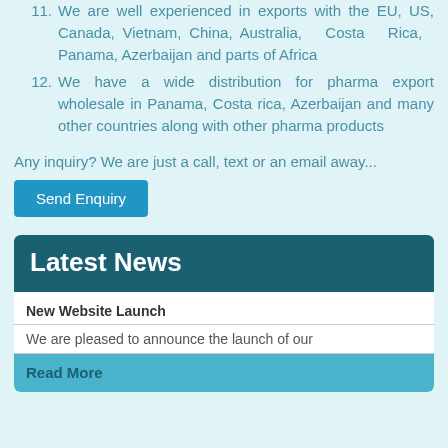11. We are well experienced in exports with the EU, US, Canada, Vietnam, China, Australia, Costa Rica, Panama, Azerbaijan and parts of Africa
12. We have a wide distribution for pharma export wholesale in Panama, Costa rica, Azerbaijan and many other countries along with other pharma products
Any inquiry? We are just a call, text or an email away...
Send Enquiry
Latest News
New Website Launch
We are pleased to announce the launch of our
Read More